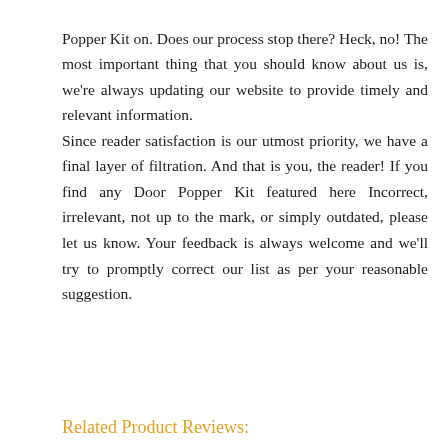Popper Kit on. Does our process stop there? Heck, no! The most important thing that you should know about us is, we're always updating our website to provide timely and relevant information.
Since reader satisfaction is our utmost priority, we have a final layer of filtration. And that is you, the reader! If you find any Door Popper Kit featured here Incorrect, irrelevant, not up to the mark, or simply outdated, please let us know. Your feedback is always welcome and we'll try to promptly correct our list as per your reasonable suggestion.
Related Product Reviews: